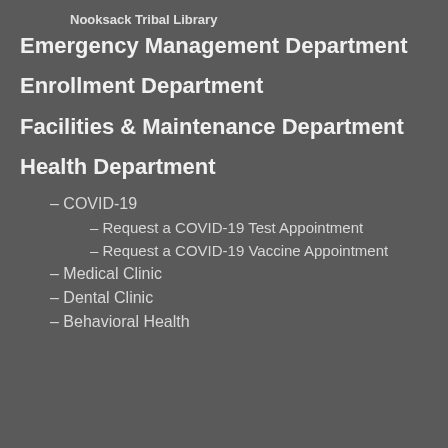Nooksack Tribal Library
Emergency Management Department
Enrollment Department
Facilities & Maintenance Department
Health Department
– COVID-19
– Request a COVID-19 Test Appointment
– Request a COVID-19 Vaccine Appointment
– Medical Clinic
– Dental Clinic
– Behavioral Health